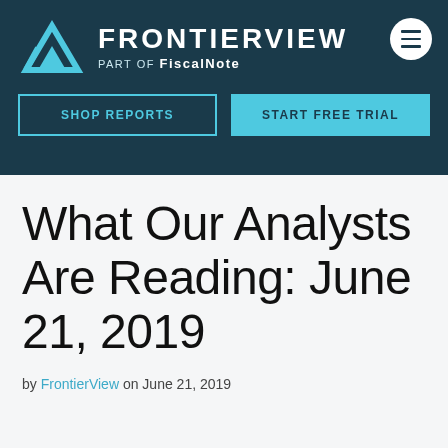FRONTIERVIEW PART OF FiscalNote
What Our Analysts Are Reading: June 21, 2019
by FrontierView on June 21, 2019